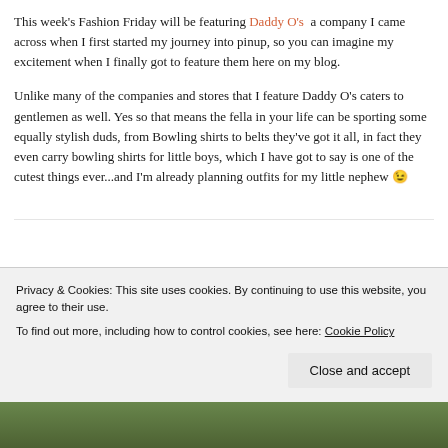This week's Fashion Friday will be featuring Daddy O's a company I came across when I first started my journey into pinup, so you can imagine my excitement when I finally got to feature them here on my blog.
Unlike many of the companies and stores that I feature Daddy O's caters to gentlemen as well. Yes so that means the fella in your life can be sporting some equally stylish duds, from Bowling shirts to belts they've got it all, in fact they even carry bowling shirts for little boys, which I have got to say is one of the cutest things ever...and I'm already planning outfits for my little nephew 😉
Privacy & Cookies: This site uses cookies. By continuing to use this website, you agree to their use.
To find out more, including how to control cookies, see here: Cookie Policy